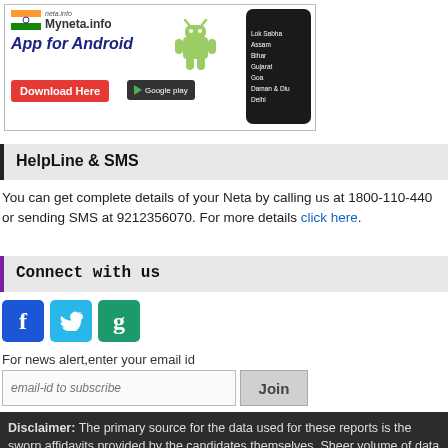[Figure (illustration): Myneta.info App for Android promotional banner with Indian flag logo, Android robot mascot, a dark smartphone showing Lok Sabha, Assam, Bihar, Gujarat, Goa, Daman & Diu, Delhi options, a red Download Here button and Google Play button.]
HelpLine & SMS
You can get complete details of your Neta by calling us at 1800-110-440 or sending SMS at 9212356070. For more details click here.
Connect with us
[Figure (illustration): Social media icons for Facebook, Twitter, and Google+]
For news alert,enter your email id
email-id to subscribe [input field] Join [button]
Disclaimer: The primary source for the data used for these reports is the sworn affidavits provided by the candidates themselves. Sheer volume of data that has to be read from the affidavits that are often poorly scanned and the lightening speed at which these reports have to be brought out